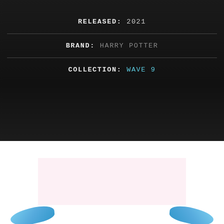RELEASED: 2021
BRAND: HARRY POTTER
COLLECTION: WAVE 9
[Figure (illustration): Light pink rectangular placeholder box in white space, with blue wing/fin shapes visible at the bottom corners of the page]